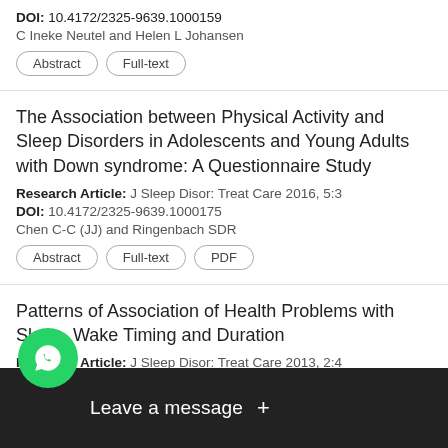DOI: 10.4172/2325-9639.1000159
C Ineke Neutel and Helen L Johansen
Abstract | Full-text
The Association between Physical Activity and Sleep Disorders in Adolescents and Young Adults with Down syndrome: A Questionnaire Study
Research Article: J Sleep Disor: Treat Care 2016, 5:3
DOI: 10.4172/2325-9639.1000175
Chen C-C (JJ) and Ringenbach SDR
Abstract | Full-text | PDF
Patterns of Association of Health Problems with Sleep- Wake Timing and Duration
Research Article: J Sleep Disor: Treat Care 2013, 2:4
DOI: 10.4172/2325-9639.1000120
V A Putilov
[Figure (screenshot): WhatsApp chat widget with green phone icon and 'Leave a message +' dark bar overlay]
Pro...